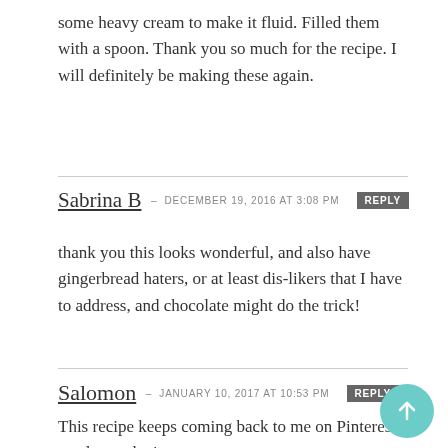some heavy cream to make it fluid. Filled them with a spoon. Thank you so much for the recipe. I will definitely be making these again.
Sabrina B – DECEMBER 19, 2016 at 3:08 PM [REPLY]
thank you this looks wonderful, and also have gingerbread haters, or at least dis-likers that I have to address, and chocolate might do the trick!
Salomon – JANUARY 10, 2017 at 10:53 PM [REPLY]
This recipe keeps coming back to me on Pinterest. need to make it.